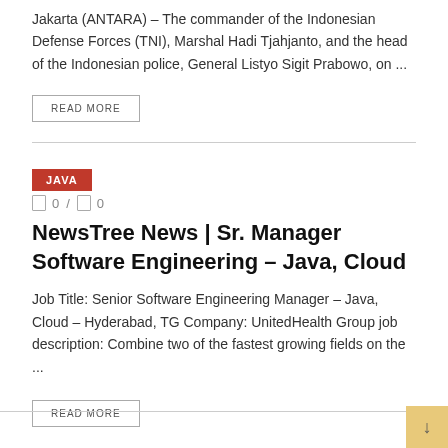Jakarta (ANTARA) – The commander of the Indonesian Defense Forces (TNI), Marshal Hadi Tjahjanto, and the head of the Indonesian police, General Listyo Sigit Prabowo, on ...
READ MORE
JAVA
0 / 0
NewsTree News | Sr. Manager Software Engineering – Java, Cloud
Job Title: Senior Software Engineering Manager – Java, Cloud – Hyderabad, TG Company: UnitedHealth Group job description: Combine two of the fastest growing fields on the ...
READ MORE